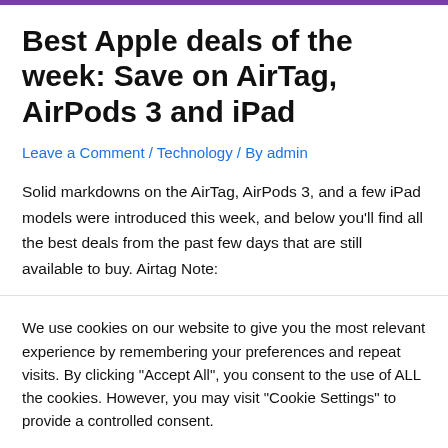Best Apple deals of the week: Save on AirTag, AirPods 3 and iPad
Leave a Comment / Technology / By admin
Solid markdowns on the AirTag, AirPods 3, and a few iPad models were introduced this week, and below you'll find all the best deals from the past few days that are still available to buy. Airtag Note:
We use cookies on our website to give you the most relevant experience by remembering your preferences and repeat visits. By clicking "Accept All", you consent to the use of ALL the cookies. However, you may visit "Cookie Settings" to provide a controlled consent.